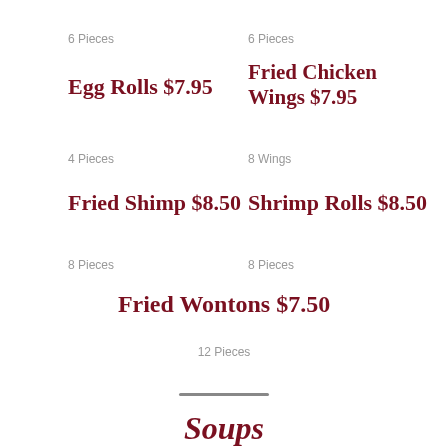6 Pieces
6 Pieces
Egg Rolls $7.95
Fried Chicken Wings $7.95
4 Pieces
8 Wings
Fried Shimp $8.50
Shrimp Rolls $8.50
8 Pieces
8 Pieces
Fried Wontons $7.50
12 Pieces
Soups